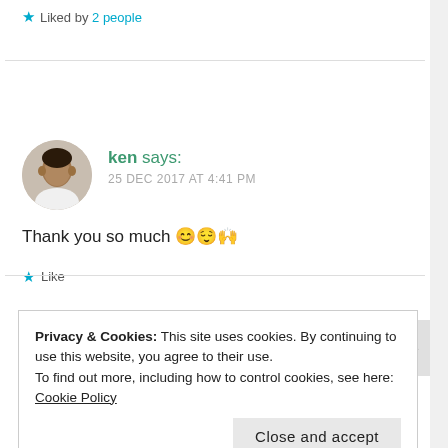★ Liked by 2 people
ken says:
25 DEC 2017 AT 4:41 PM
Thank you so much 😊😌🙌
★ Like
Privacy & Cookies: This site uses cookies. By continuing to use this website, you agree to their use.
To find out more, including how to control cookies, see here: Cookie Policy
Close and accept